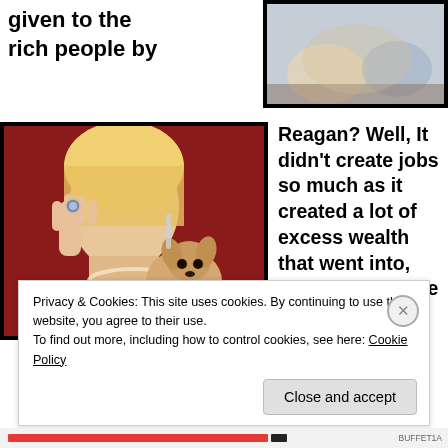given to the rich people by
[Figure (illustration): Cartoon-style illustration of figures, partially visible at top right]
[Figure (photo): Photo of a blonde woman holding a small Chihuahua dog, posing against a red background, wearing pearl necklace and jewelry]
Reagan? Well, It didn't create jobs so much as it created a lot of excess wealth that went into, well, people were buying yachts, and they were investing in art
Privacy & Cookies: This site uses cookies. By continuing to use this website, you agree to their use.
To find out more, including how to control cookies, see here: Cookie Policy
Close and accept